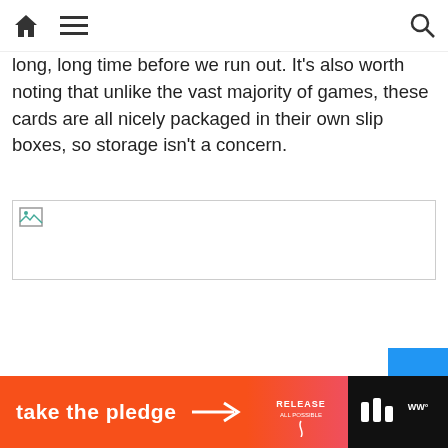Home | Menu | Search
long, long time before we run out. It's also worth noting that unlike the vast majority of games, these cards are all nicely packaged in their own slip boxes, so storage isn't a concern.
[Figure (photo): Broken/missing image placeholder]
The three round markers. The top two have both rounds 1 and 2 on
[Figure (infographic): Advertisement banner: take the pledge, with Release and EdSurge logos]